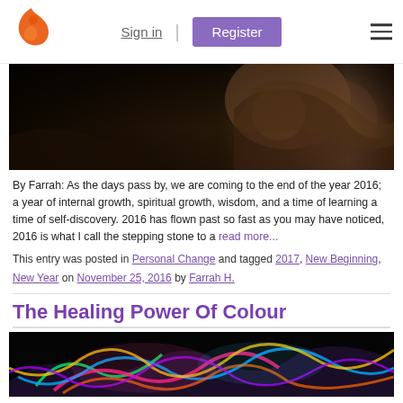Sign in | Register
[Figure (photo): Dark moody photo showing a person sitting outdoors with earth tones]
By Farrah: As the days pass by, we are coming to the end of the year 2016; a year of internal growth, spiritual growth, wisdom, and a time of learning a time of self-discovery. 2016 has flown past so fast as you may have noticed, 2016 is what I call the stepping stone to a read more...
This entry was posted in Personal Change and tagged 2017, New Beginning, New Year on November 25, 2016 by Farrah H.
The Healing Power Of Colour
[Figure (photo): Colorful light streaks on black background showing rainbow colors]